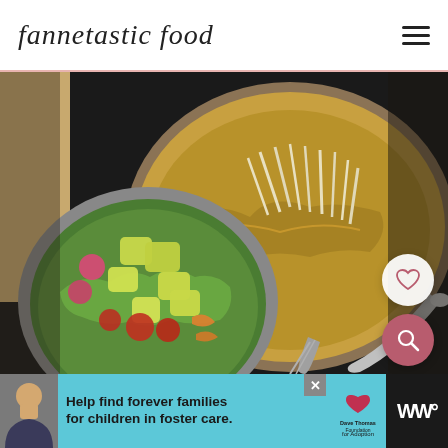fannetastic food
[Figure (photo): Overhead view of a restaurant tray with two bowls: a large bowl of broth-based noodle soup with bean sprouts on top, and a salad bowl with mixed greens, avocado chunks, tomatoes, radishes, and carrots. A fork and spoon are visible on the dark tray.]
[Figure (infographic): Advertisement banner: 'Help find forever families for children in foster care.' with Dave Thomas Foundation for Adoption logo, a photo of a young man, and a WW logo on the right.]